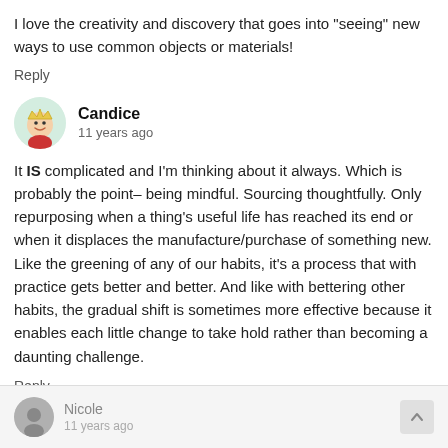I love the creativity and discovery that goes into "seeing" new ways to use common objects or materials!
Reply
[Figure (illustration): Round avatar of Candice, illustrated cartoon character with crown and red outfit]
Candice
11 years ago
It IS complicated and I'm thinking about it always. Which is probably the point– being mindful. Sourcing thoughtfully. Only repurposing when a thing's useful life has reached its end or when it displaces the manufacture/purchase of something new. Like the greening of any of our habits, it's a process that with practice gets better and better. And like with bettering other habits, the gradual shift is sometimes more effective because it enables each little change to take hold rather than becoming a daunting challenge.
Reply
[Figure (illustration): Round avatar of Nicole, small grayscale photo]
Nicole
11 years ago